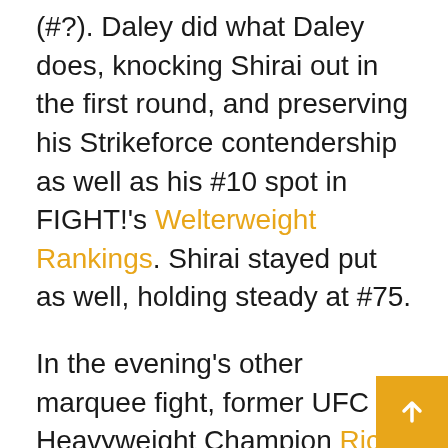(#?). Daley did what Daley does, knocking Shirai out in the first round, and preserving his Strikeforce contendership as well as his #10 spot in FIGHT!'s Welterweight Rankings. Shirai stayed put as well, holding steady at #75.

In the evening's other marquee fight, former UFC Heavyweight Champion Ricco Rodriguez took on The Ultimate Fighter veteran James McSweeney in a 220# catchweight affair. Rodriguez said that he would begin competing at 205 pounds, then said he'd make the full cut when the fight purse warranted it, but he has yet to make it to light heavyweight – or even 15 pounds over that limit – in two attempts. Rodriguez took the decision from McSweeney with superior grappling, climbing from #73 to